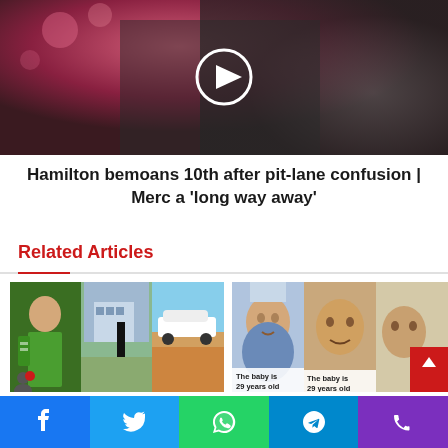[Figure (photo): Hero image of Lewis Hamilton looking distressed, with a white play button circle overlay. Background is pinkish-red bokeh with dark clothing.]
Hamilton bemoans 10th after pit-lane confusion | Merc a 'long way away'
Related Articles
[Figure (photo): Left thumbnail collage: three images side by side — a person in green outfit, a building with a dark post, and a white SUV on reddish ground.]
[Figure (photo): Right thumbnail collage: three images of babies with captions 'The baby is 29 years old' and partial text on second. A red scroll-to-top button overlays the right edge.]
Facebook | Twitter | WhatsApp | Telegram | Phone social share bar